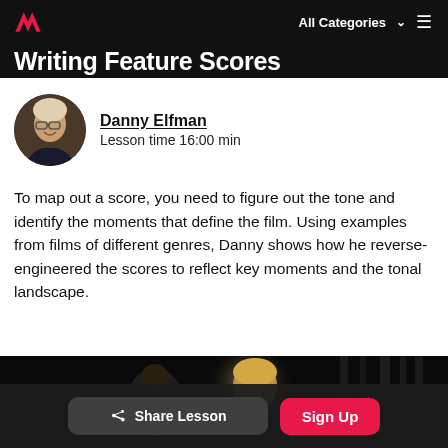All Categories ≡
Writing Feature Scores
Danny Elfman
Lesson time 16:00 min
To map out a score, you need to figure out the tone and identify the moments that define the film. Using examples from films of different genres, Danny shows how he reverse-engineered the scores to reflect key moments and the tonal landscape.
[Figure (photo): Video thumbnail showing a person illuminated from behind in a dark setting]
Share Lesson   Sign Up